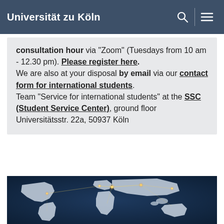Universität zu Köln
consultation hour via "Zoom" (Tuesdays from 10 am - 12.30 pm). Please register here.
We are also at your disposal by email via our contact form for international students.
Team "Service for international students" at the SSC (Student Service Center), ground floor
Universitätsstr. 22a, 50937 Köln
[Figure (photo): World map with glowing network connections on a dark blue background, showing interconnected routes across continents]